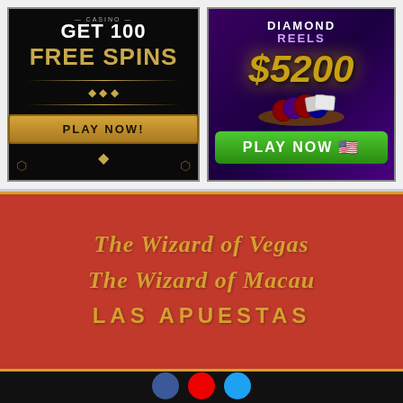[Figure (illustration): Casino ad: dark background with Art Deco style, text 'GET 100 FREE SPINS' in white and gold, with a gold 'PLAY NOW!' button]
[Figure (illustration): Diamond Reels casino ad: purple background with poker chips and cards, '$5200' in gold metallic text, green 'PLAY NOW' button with US flag emoji]
[Figure (logo): The Wizard of Vegas logo in gold italic font on red background]
[Figure (logo): The Wizard of Macau logo in gold italic font on red background]
LAS APUESTAS
[Figure (illustration): Black footer area with three circular social media icons: blue (Facebook), red (YouTube/Google+), light blue (Twitter)]